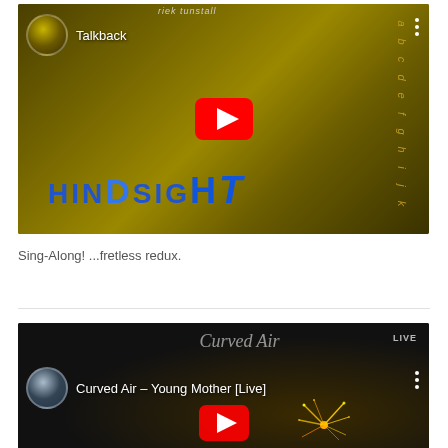[Figure (screenshot): YouTube video thumbnail for 'Talkback' showing a dark olive/yellow album cover with 'HINDSIGHT' text and a YouTube play button. Channel icon visible in top left.]
Sing-Along! ...fretless redux.
[Figure (screenshot): YouTube video thumbnail for 'Curved Air - Young Mother [Live]' showing a dark background with sparkler/firework. Channel icon visible with text 'Curved Air LIVE'.]